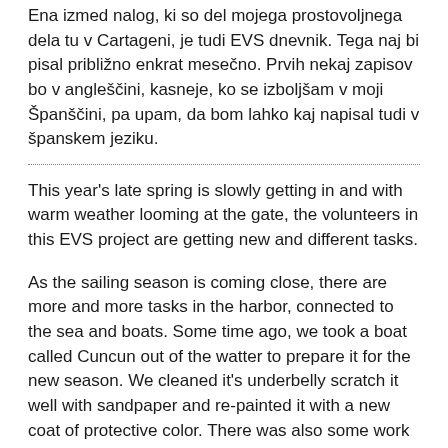Ena izmed nalog, ki so del mojega prostovoljnega dela tu v Cartageni, je tudi EVS dnevnik. Tega naj bi pisal približno enkrat mesečno. Prvih nekaj zapisov bo v angleščini, kasneje, ko se izboljšam v moji Španščini, pa upam, da bom lahko kaj napisal tudi v španskem jeziku.
This year's late spring is slowly getting in and with warm weather looming at the gate, the volunteers in this EVS project are getting new and different tasks.
As the sailing season is coming close, there are more and more tasks in the harbor, connected to the sea and boats. Some time ago, we took a boat called Cuncun out of the watter to prepare it for the new season. We cleaned it's underbelly scratch it well with sandpaper and re-painted it with a new coat of protective color. There was also some work on a boat called Colorines. An old motor boat, that was on dry land on my first visit to Los nietos is now in the